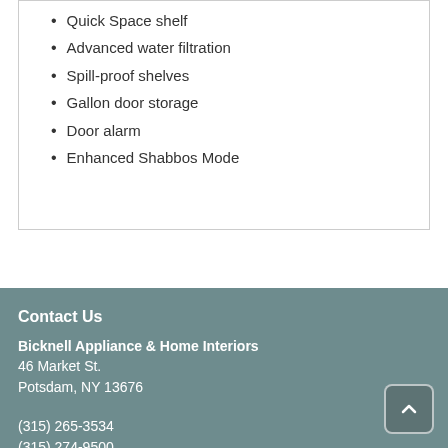Quick Space shelf
Advanced water filtration
Spill-proof shelves
Gallon door storage
Door alarm
Enhanced Shabbos Mode
Contact Us
Bicknell Appliance & Home Interiors
46 Market St.
Potsdam, NY 13676
(315) 265-3534
(315) 274-9500